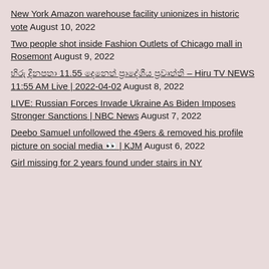New York Amazon warehouse facility unionizes in historic vote August 10, 2022
Two people shot inside Fashion Outlets of Chicago mall in Rosemont August 9, 2022
හිරු දිනපතා 11.55 දෙනෙත් ප්‍රාදේශීය ප්‍රවෘත්ති – Hiru TV NEWS 11:55 AM Live | 2022-04-02 August 8, 2022
LIVE: Russian Forces Invade Ukraine As Biden Imposes Stronger Sanctions | NBC News August 7, 2022
Deebo Samuel unfollowed the 49ers & removed his profile picture on social media 👀 | KJM August 6, 2022
Girl missing for 2 years found under stairs in NY